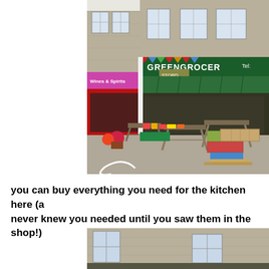[Figure (photo): Exterior of a greengrocer shop with green awning, produce displayed on wooden trestle tables outside, alongside a wines and spirits shop with red frontage. Stone building facade visible above.]
you can buy everything you need for the kitchen here (and things you never knew you needed until you saw them in the shop!)
[Figure (photo): Bottom portion of a stone building exterior showing sash windows, partial view of shop front below.]